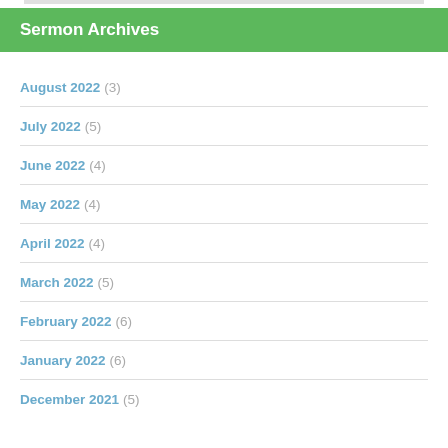Sermon Archives
August 2022 (3)
July 2022 (5)
June 2022 (4)
May 2022 (4)
April 2022 (4)
March 2022 (5)
February 2022 (6)
January 2022 (6)
December 2021 (5)